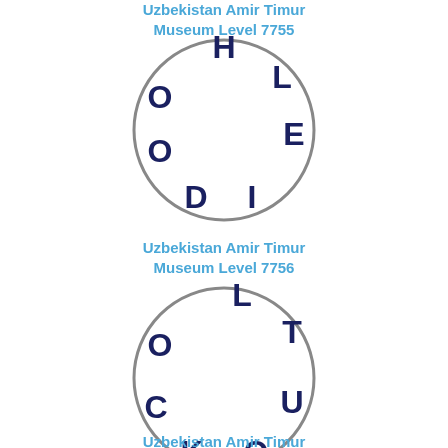Uzbekistan Amir Timur Museum Level 7755
[Figure (illustration): Circle with letters O, H, L, E, I, D arranged around the inside perimeter]
Uzbekistan Amir Timur Museum Level 7756
[Figure (illustration): Circle with letters O, L, T, U, O, K, C arranged around the inside perimeter]
Uzbekistan Amir Timur